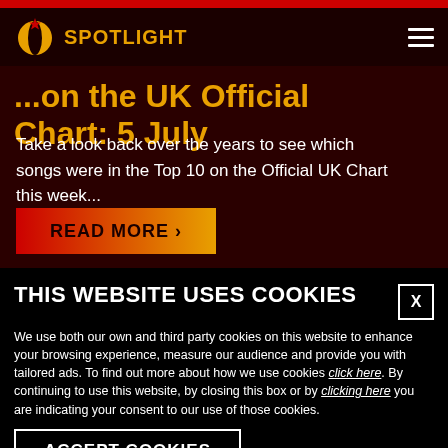Spotlight
...on the UK Official Chart: 5 July
Take a look back over the years to see which songs were in the Top 10 on the Official UK Chart this week...
READ MORE >
THIS WEBSITE USES COOKIES
We use both our own and third party cookies on this website to enhance your browsing experience, measure our audience and provide you with tailored ads. To find out more about how we use cookies click here. By continuing to use this website, by closing this box or by clicking here you are indicating your consent to our use of those cookies.
ACCEPT COOKIES